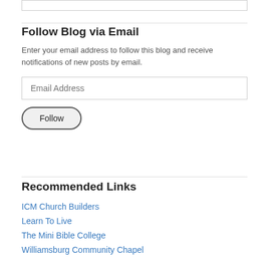Follow Blog via Email
Enter your email address to follow this blog and receive notifications of new posts by email.
[Figure (other): Email Address input field with placeholder text]
[Figure (other): Follow button with rounded border]
Recommended Links
ICM Church Builders
Learn To Live
The Mini Bible College
Williamsburg Community Chapel